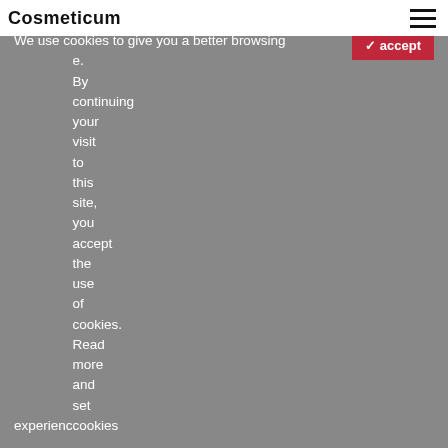Cosmeticum
[Figure (photo): Close-up photo of a person's face (male, with blue/grey eye and light skin) with white cream/product applied under the eye area. The background is grey on the right half. Text overlay reads 'bring' in italic and 'SKINCARE EFFICACY' in large bold serif font.]
Seppic decodes the niche trend of psychodermatology in cosmetics
We use cookies to give you a better browsing experience. By continuing your visit to this site, you accept the use of cookies. Read more and set cookies